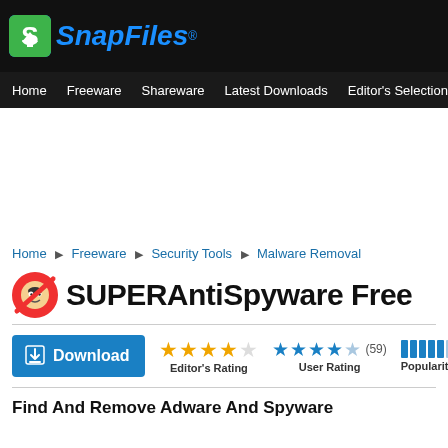SnapFiles®
Home  Freeware  Shareware  Latest Downloads  Editor's Selections  Top
Home ▶ Freeware ▶ Security Tools ▶ Malware Removal
SUPERAntiSpyware Free
[Figure (other): Download button with blue background and download icon]
Editor's Rating: 4 stars, User Rating: 3.5 stars (59), Popularity bar chart
Find And Remove Adware And Spyware